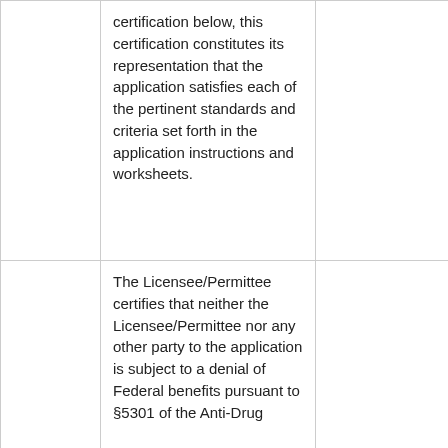|  | certification below, this certification constitutes its representation that the application satisfies each of the pertinent standards and criteria set forth in the application instructions and worksheets. |  |
|  | The Licensee/Permittee certifies that neither the Licensee/Permittee nor any other party to the application is subject to a denial of Federal benefits pursuant to §5301 of the Anti-Drug |  |